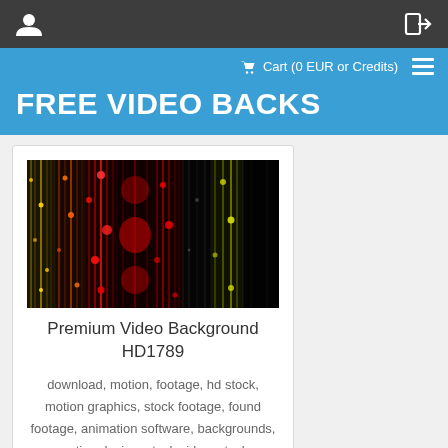Cart (0 EUR or Credits)
FREE VIDEO BACKS
[Figure (photo): Video thumbnail showing colorful vertical streaks of light in red, orange, yellow and green on dark background — Premium Video Background HD1789]
Premium Video Background HD1789
download, motion, footage, hd stock, motion graphics, stock footage, found footage, animation software, backgrounds, motion design, stock video, stock